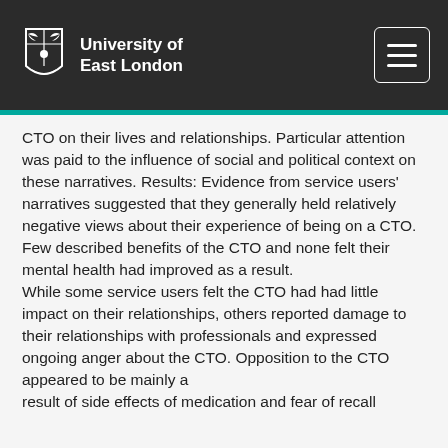University of East London
CTO on their lives and relationships. Particular attention was paid to the influence of social and political context on these narratives. Results: Evidence from service users' narratives suggested that they generally held relatively negative views about their experience of being on a CTO. Few described benefits of the CTO and none felt their mental health had improved as a result. While some service users felt the CTO had had little impact on their relationships, others reported damage to their relationships with professionals and expressed ongoing anger about the CTO. Opposition to the CTO appeared to be mainly a result of side effects of medication and fear of recall